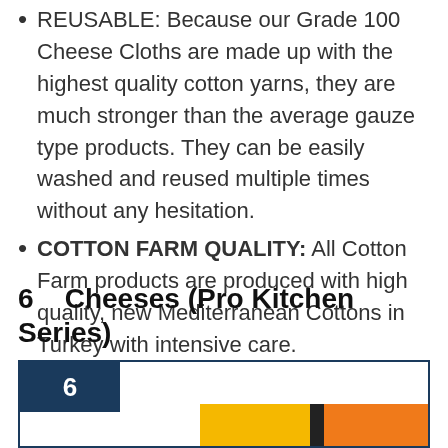REUSABLE: Because our Grade 100 Cheese Cloths are made up with the highest quality cotton yarns, they are much stronger than the average gauze type products. They can be easily washed and reused multiple times without any hesitation.
COTTON FARM QUALITY: All Cotton Farm products are produced with high quality, new Mediterranean Cottons in Turkey with intensive care.
6    Cheeses (Pro Kitchen Series)
[Figure (other): Product card showing the number 6 badge in dark navy on the left and a product image strip with yellow, dark, and orange color blocks at the bottom.]